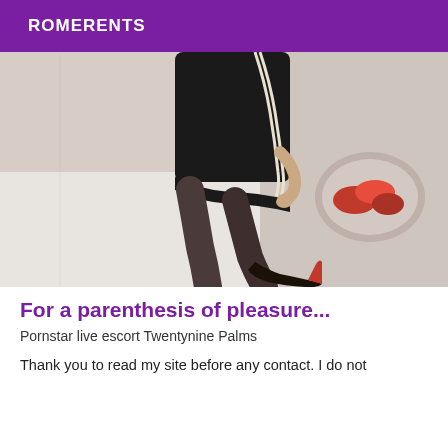ROMERENTS
[Figure (photo): A woman in a short black dress with pearl trim detail kneeling on a white bed surface, wearing black high heels with red soles. A wall niche with red flowers is visible in the background.]
For a parenthesis of pleasure...
Pornstar live escort Twentynine Palms
Thank you to read my site before any contact. I do not